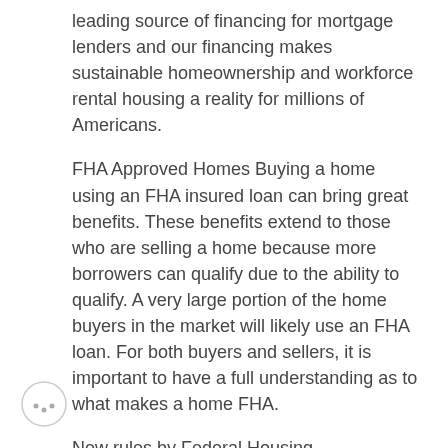leading source of financing for mortgage lenders and our financing makes sustainable homeownership and workforce rental housing a reality for millions of Americans.
FHA Approved Homes Buying a home using an FHA insured loan can bring great benefits. These benefits extend to those who are selling a home because more borrowers can qualify due to the ability to qualify. A very large portion of the home buyers in the market will likely use an FHA loan. For both buyers and sellers, it is important to have a full understanding as to what makes a home FHA.
New rules by Federal Housing Administration will allow more condominium purchases to be eligible for lower-down-payment loans. FHA mortgage insurance even if the condo project isn't FHA approved.
FHA Loan Articles and Mortgage News. August 9, 2018 – FHA home loans feature a minimum required investment, also known as a down payment, of 3.5% of the adjusted value of the home. This down payment is required for new purchase FHA mortgages.